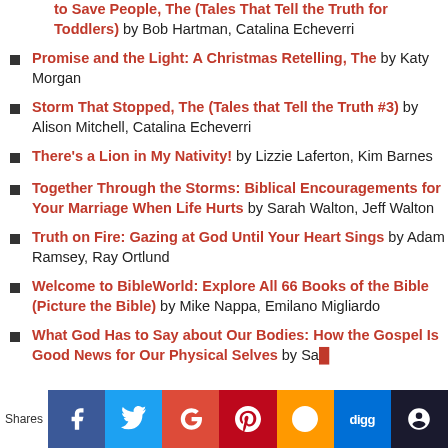to Save People, The (Tales That Tell the Truth for Toddlers) by Bob Hartman, Catalina Echeverri
Promise and the Light: A Christmas Retelling, The by Katy Morgan
Storm That Stopped, The (Tales that Tell the Truth #3) by Alison Mitchell, Catalina Echeverri
There's a Lion in My Nativity! by Lizzie Laferton, Kim Barnes
Together Through the Storms: Biblical Encouragements for Your Marriage When Life Hurts by Sarah Walton, Jeff Walton
Truth on Fire: Gazing at God Until Your Heart Sings by Adam Ramsey, Ray Ortlund
Welcome to BibleWorld: Explore All 66 Books of the Bible (Picture the Bible) by Mike Nappa, Emilano Migliardo
What God Has to Say about Our Bodies: How the Gospel Is Good News for Our Physical Selves by Sa...